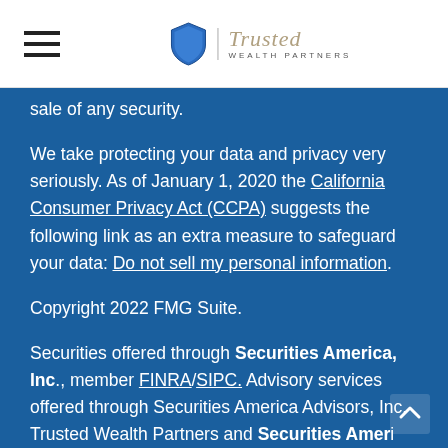Trusted Wealth Partners
sale of any security.
We take protecting your data and privacy very seriously. As of January 1, 2020 the California Consumer Privacy Act (CCPA) suggests the following link as an extra measure to safeguard your data: Do not sell my personal information.
Copyright 2022 FMG Suite.
Securities offered through Securities America, Inc., member FINRA/SIPC. Advisory services offered through Securities America Advisors, Inc. Trusted Wealth Partners and Securities America are Separate Companies.
This site is published for residents of the United